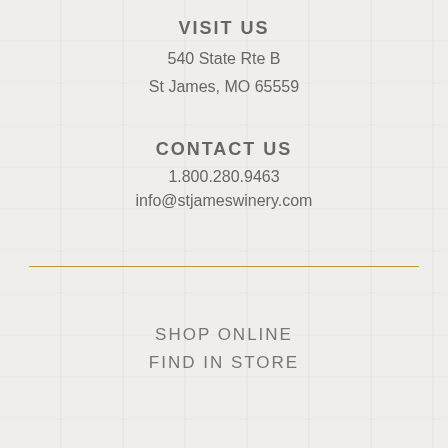VISIT US
540 State Rte B
St James, MO 65559
CONTACT US
1.800.280.9463
info@stjameswinery.com
SHOP ONLINE
FIND IN STORE